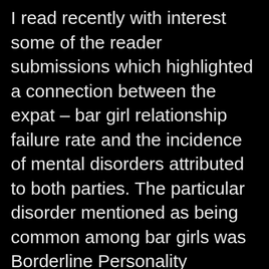I read recently with interest some of the reader submissions which highlighted a connection between the expat – bar girl relationship failure rate and the incidence of mental disorders attributed to both parties. The particular disorder mentioned as being common among bar girls was Borderline Personality Disorder paraphrased in one article as, "she's a psycho bitch". Whilst I acknowledge that there are indeed some very damaged people interacting within the bar scene in Thailand (and I don't exclude myself from this category) what I question is the helpfulness of drawing the conclusion that all involved with bar girls are damned to a life of purgatory. There seems to be a lot of clever academic research to support this hypothesis. We have the likes of Cohen and Mullder (anthropologists specialising in Thai culture)